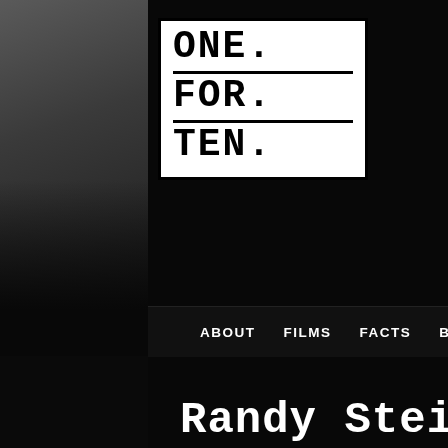[Figure (logo): ONE. FOR. TEN. logo in white box with black bold typewriter font, three horizontal sections separated by lines]
ABOUT    FILMS    FACTS    BLOG    SHOP    NOW WHAT?    CO
Randy Steidl